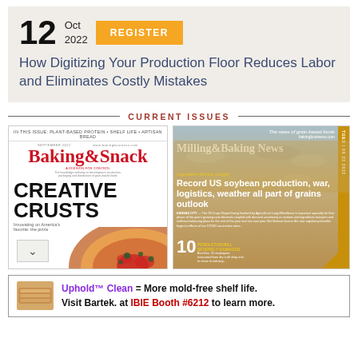[Figure (infographic): Promotional banner with date Oct 12 2022, orange REGISTER button, and title text about digitizing production floor]
How Digitizing Your Production Floor Reduces Labor and Eliminates Costly Mistakes
CURRENT ISSUES
[Figure (photo): Baking & Snack magazine cover September 2022, featuring CREATIVE CRUSTS headline and pizza image]
[Figure (photo): Milling & Baking News magazine cover, featuring headline: Record US soybean production, war, logistics, weather all part of grains outlook]
Uphold™ Clean = More mold-free shelf life. Visit Bartek. at IBIE Booth #6212 to learn more.